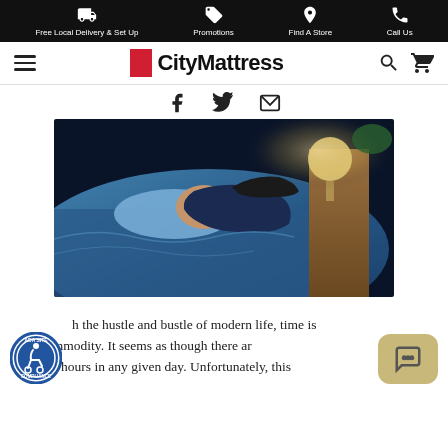Free Local Delivery & Set Up | Promotions | Find A Store | Call Us
[Figure (logo): CityMattress logo with red square and black text]
[Figure (infographic): Social sharing icons: Facebook, Twitter, Email]
[Figure (photo): Woman sleeping in bed with blue lighting, nightstand with lamp and phone in background]
With the hustle and bustle of modern life, time is a precious commodity. It seems as though there are never enough hours in any given day. Unfortunately, this